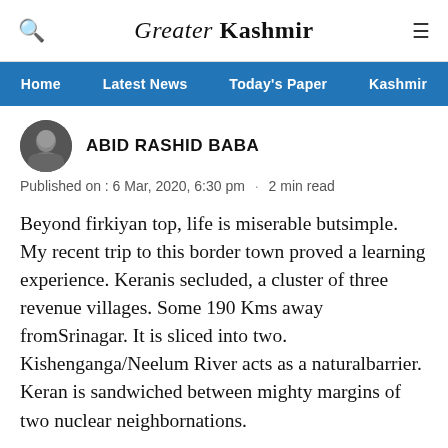Greater Kashmir
Home | Latest News | Today's Paper | Kashmir
ABID RASHID BABA
Published on : 6 Mar, 2020, 6:30 pm · 2 min read
Beyond firkiyan top, life is miserable butsimple. My recent trip to this border town proved a learning experience. Keranis secluded, a cluster of three revenue villages. Some 190 Kms away fromSrinagar. It is sliced into two. Kishenganga/Neelum River acts as a naturalbarrier. Keran is sandwiched between mighty margins of two nuclear neighbornations.
I got permission from district magistrate'soffice... the cab crossed Trehgam, it was stopped seven times